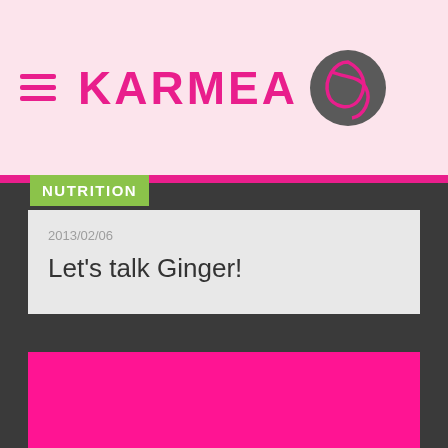KARMEA
NUTRITION
2013/02/06
Let's talk Ginger!
[Figure (photo): Solid magenta/hot-pink rectangle representing a blog post featured image]